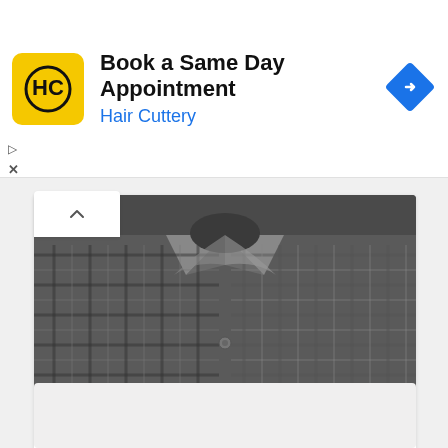[Figure (screenshot): Hair Cuttery advertisement banner with logo (HC on yellow background), headline 'Book a Same Day Appointment', subtitle 'Hair Cuttery' in blue, and a blue navigation arrow icon on the right]
[Figure (photo): Black and white photo of a man wearing a plaid/checkered shirt, upper torso and neck visible]
TECH
Anti-Adam Neumann
nikhilmodi - August 20, 2022